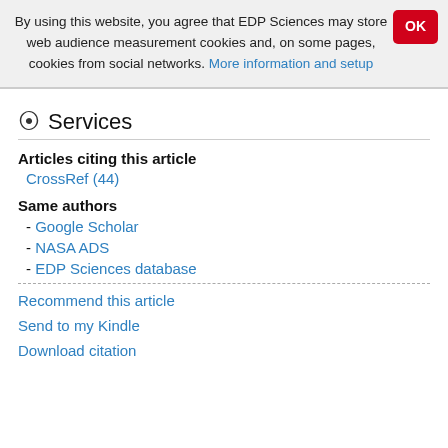By using this website, you agree that EDP Sciences may store web audience measurement cookies and, on some pages, cookies from social networks. More information and setup
Services
Articles citing this article
CrossRef (44)
Same authors
- Google Scholar
- NASA ADS
- EDP Sciences database
Recommend this article
Send to my Kindle
Download citation